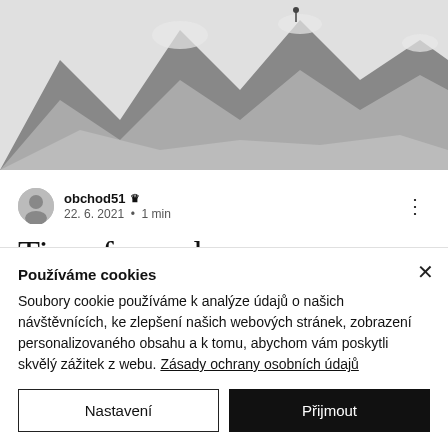[Figure (photo): Black and white photo of rocky mountain landscape with a person visible at top]
obchod51 👑
22. 6. 2021 · 1 min
Time for a change
Create a blog post subtitle that summarizes your post in a few short
Používáme cookies
Soubory cookie používáme k analýze údajů o našich návštěvnících, ke zlepšení našich webových stránek, zobrazení personalizovaného obsahu a k tomu, abychom vám poskytli skvělý zážitek z webu. Zásady ochrany osobních údajů